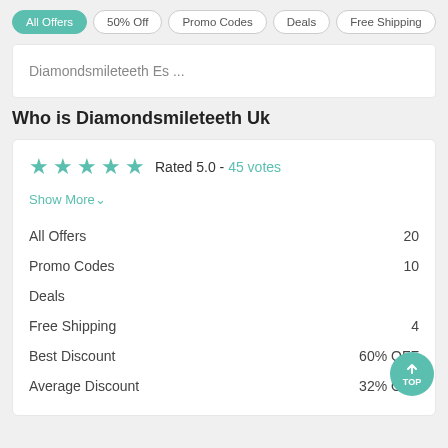All Offers  50% Off  Promo Codes  Deals  Free Shipping
Diamondsmileteeth Es ...
Who is Diamondsmileteeth Uk
Rated 5.0 - 45 votes
Show More
|  |  |
| --- | --- |
| All Offers | 20 |
| Promo Codes | 10 |
| Deals |  |
| Free Shipping | 4 |
| Best Discount | 60% OFF |
| Average Discount | 32% OFF |